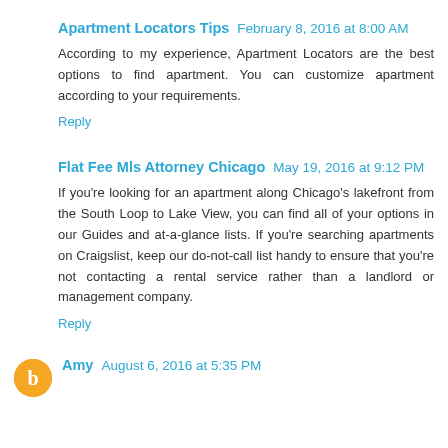Apartment Locators Tips  February 8, 2016 at 8:00 AM
According to my experience, Apartment Locators are the best options to find apartment. You can customize apartment according to your requirements.
Reply
Flat Fee Mls Attorney Chicago  May 19, 2016 at 9:12 PM
If you're looking for an apartment along Chicago's lakefront from the South Loop to Lake View, you can find all of your options in our Guides and at-a-glance lists. If you're searching apartments on Craigslist, keep our do-not-call list handy to ensure that you're not contacting a rental service rather than a landlord or management company.
Reply
Amy  August 6, 2016 at 5:35 PM